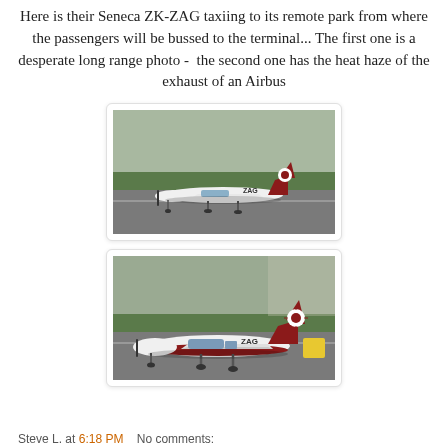Here is their Seneca ZK-ZAG taxiing to its remote park from where the passengers will be bussed to the terminal... The first one is a desperate long range photo - the second one has the heat haze of the exhaust of an Airbus
[Figure (photo): A white and dark red Piper Seneca aircraft with registration ZAG taxiing on airport tarmac, long-range photo showing grass, runway and dark background, heat haze visible.]
[Figure (photo): A closer view of the same white and dark red Piper Seneca aircraft with registration ZAG taxiing on airport tarmac, heat haze from Airbus exhaust visible in the top right area, yellow equipment visible at right edge.]
Steve L. at 6:18 PM    No comments: